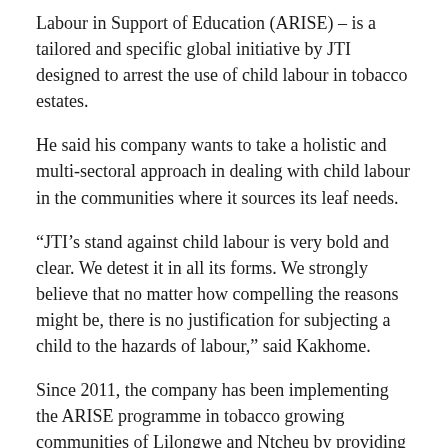Labour in Support of Education (ARISE) – is a tailored and specific global initiative by JTI designed to arrest the use of child labour in tobacco estates.
He said his company wants to take a holistic and multi-sectoral approach in dealing with child labour in the communities where it sources its leaf needs.
“JTI’s stand against child labour is very bold and clear. We detest it in all its forms. We strongly believe that no matter how compelling the reasons might be, there is no justification for subjecting a child to the hazards of labour,” said Kakhome.
Since 2011, the company has been implementing the ARISE programme in tobacco growing communities of Lilongwe and Ntcheu by providing access to education and alternative economic opportunities as well as advocating policy changes on